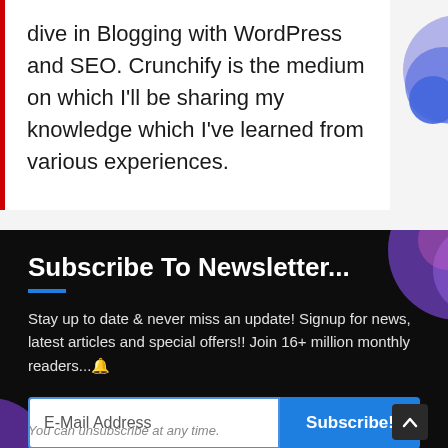dive in Blogging with WordPress and SEO. Crunchify is the medium on which I'll be sharing my knowledge which I've learned from various experiences.
Subscribe To Newsletter...
Stay up to date & never miss an update! Signup for news, latest articles and special offers!! Join 16+ million monthly readers...🔔
You can unsubscribe at any time.